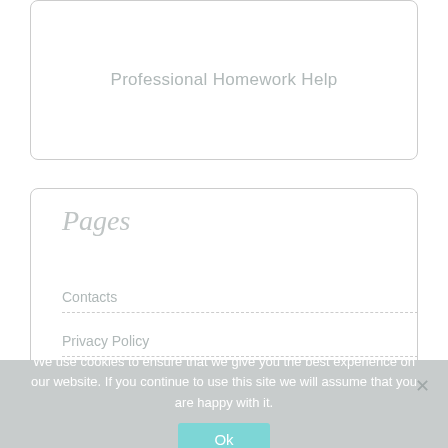Professional Homework Help
Pages
Contacts
Privacy Policy
Terms and Conditions
We use cookies to ensure that we give you the best experience on our website. If you continue to use this site we will assume that you are happy with it.
Ok